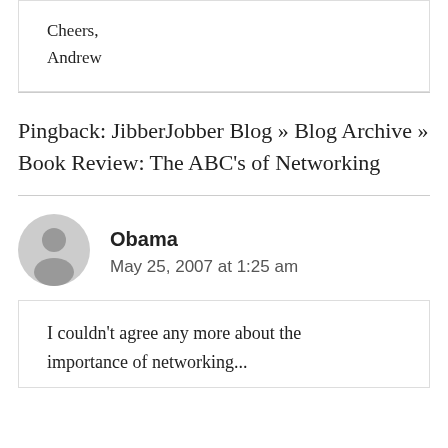Cheers,
Andrew
Pingback: JibberJobber Blog » Blog Archive » Book Review: The ABC's of Networking
Obama
May 25, 2007 at 1:25 am
I couldn't agree any more about the importance of networking...